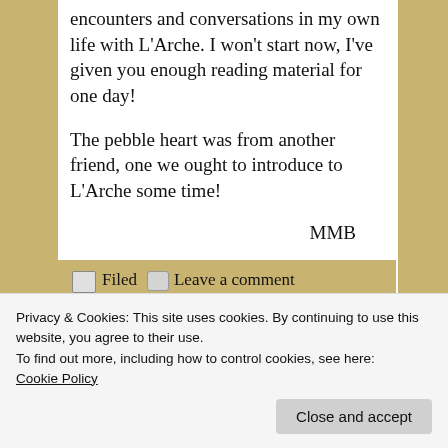encounters and conversations in my own life with L'Arche. I won't start now, I've given you enough reading material for one day!
The pebble heart was from another friend, one we ought to introduce to L'Arche some time!
MMB
Filed  Leave a comment under Daily Reflections, L'Arche,
Privacy & Cookies: This site uses cookies. By continuing to use this website, you agree to their use.
To find out more, including how to control cookies, see here:
Cookie Policy
Close and accept